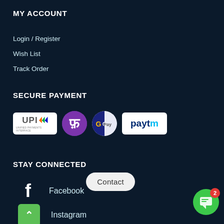MY ACCOUNT
Login / Register
Wish List
Track Order
SECURE PAYMENT
[Figure (logo): Payment logos: UPI, PhonePe, Google Pay, Paytm]
STAY CONNECTED
Facebook
Instagram
YouTube (partially visible)